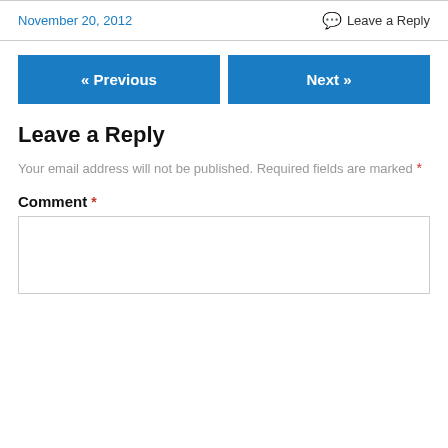November 20, 2012
Leave a Reply
« Previous
Next »
Leave a Reply
Your email address will not be published. Required fields are marked *
Comment *